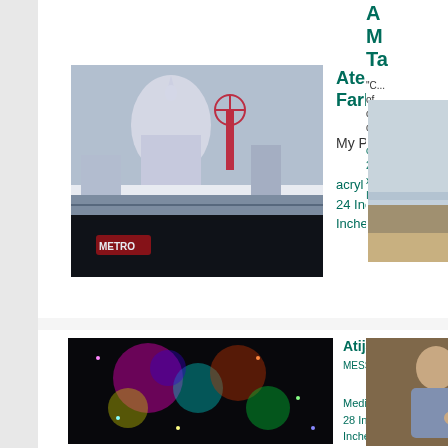[Figure (photo): Painting of Paris landmarks including Sacré-Cœur and Moulin Rouge with METRO sign, colorful detailed cityscape]
Atelier Farbenherz
My Paris
acryl on canvas
24 Inches x 31 Inches
[Figure (photo): Painting of a seascape with a red sun over calm ocean and sandy shore, soft impressionistic style]
A... M... Ta...
"C... of... ch... de...
oil...
24... x ... In...
[Figure (photo): Colorful digital or mixed media artwork with bright neon colors filling a dark scene, abstract figures]
Atijas Mihajlo
MESSIAHINTHETEMPLE
Media Material
28 Inches x 39 Inches
[Figure (photo): Portrait photo of a man in a light blue shirt gesturing toward camera, warm painterly background]